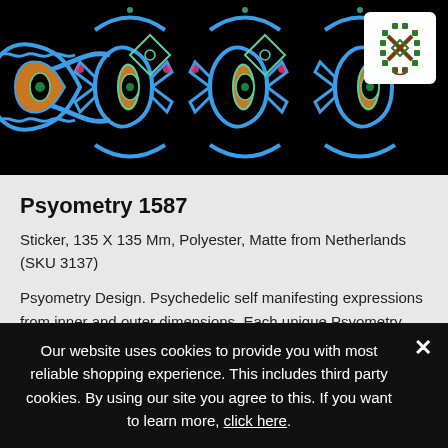[Figure (illustration): Psychedelic kaleidoscopic pattern on black background with neon blue, orange, green, and pink geometric repeating shapes. A white square logo badge with green and brown cross/geometric symbol is in the top right corner.]
Psyometry 1587
Sticker, 135 X 135 Mm, Polyester, Matte from Netherlands (SKU 3137)
Psyometry Design. Psychedelic self manifesting expressions from inner and outer dimensions. Each unique Psyometry pattern contains a kaleidoscopic fragment of an
Our website uses cookies to provide you with most reliable shopping experience. This includes third party cookies. By using our site you agree to this. If you want to learn more, click here.